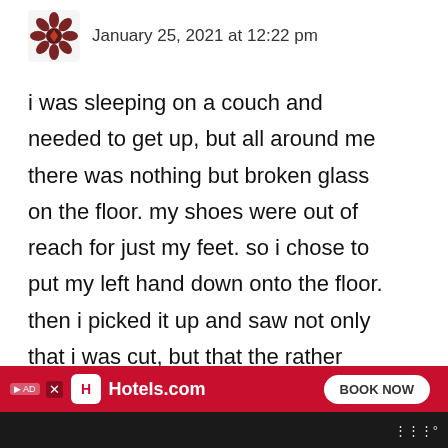[Figure (illustration): Decorative avatar icon with snowflake/geometric pattern in brown/dark red]
January 25, 2021 at 12:22 pm
i was sleeping on a couch and needed to get up, but all around me there was nothing but broken glass on the floor. my shoes were out of reach for just my feet. so i chose to put my left hand down onto the floor. then i picked it up and saw not only that i was cut, but that the rather large piece of a teacup was still embedded in my hand. i removed it and saw th... ...hand.
[Figure (other): Like/heart button (teal circle with heart icon) with count 74 below, and share icon below that]
[Figure (other): Hotels.com advertisement banner with red background, Hotels.com logo, BOOK NOW button]